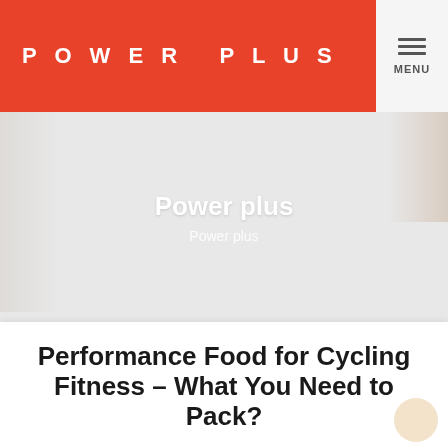POWER PLUS
Power plus
Power plus
Performance Food for Cycling Fitness – What You Need to Pack?
July 9, 2021 by Apollo